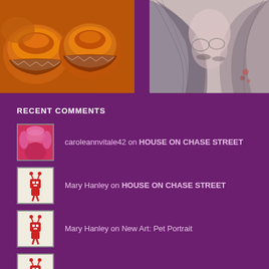[Figure (photo): Close-up photo of baked muffins in paper cups, golden-brown color]
[Figure (illustration): Pencil/colored illustration of two figures with flowing hair, embracing]
RECENT COMMENTS
caroleannvitale42 on HOUSE ON CHASE STREET
Mary Hanley on HOUSE ON CHASE STREET
Mary Hanley on New Art: Pet Portrait
Mary Hanley on August Art (so far)